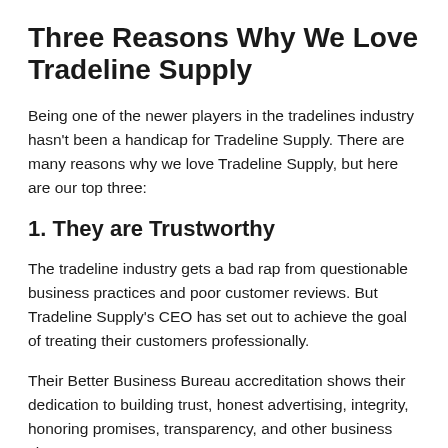Three Reasons Why We Love Tradeline Supply
Being one of the newer players in the tradelines industry hasn't been a handicap for Tradeline Supply. There are many reasons why we love Tradeline Supply, but here are our top three:
1. They are Trustworthy
The tradeline industry gets a bad rap from questionable business practices and poor customer reviews. But Tradeline Supply's CEO has set out to achieve the goal of treating their customers professionally.
Their Better Business Bureau accreditation shows their dedication to building trust, honest advertising, integrity, honoring promises, transparency, and other business virtues